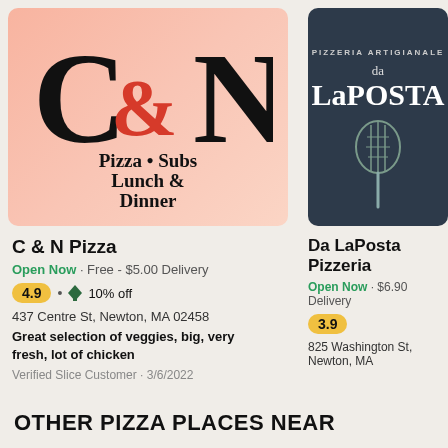[Figure (logo): C&N Pizza logo on pink/salmon gradient background with large serif C&N letters and text: Pizza • Subs Lunch & Dinner]
C & N Pizza
Open Now · Free - $5.00 Delivery
4.9 • 🏷 10% off
437 Centre St, Newton, MA 02458
Great selection of veggies, big, very fresh, lot of chicken
Verified Slice Customer • 3/6/2022
[Figure (logo): Da LaPosta Pizzeria logo on dark navy background with text: PIZZERIA ARTIGIANALE da LaPOSTA and a pizza peel illustration]
Da LaPosta Pizzeria
Open Now · $6.90 Delivery
3.9
825 Washington St, Newton, MA
OTHER PIZZA PLACES NEAR